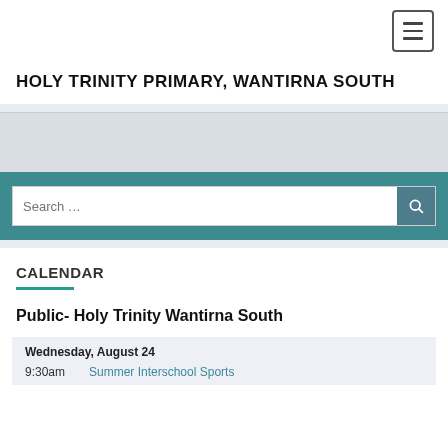HOLY TRINITY PRIMARY, WANTIRNA SOUTH
[Figure (screenshot): Hamburger menu button (three horizontal lines) in top right corner]
[Figure (screenshot): Gray image placeholder / banner area]
[Figure (screenshot): Search bar with text 'Search ...' and a teal search button with magnifying glass icon]
CALENDAR
Public- Holy Trinity Wantirna South
| Time | Event |
| --- | --- |
| 9:30am | Summer Interschool Sports |
Wednesday, August 24